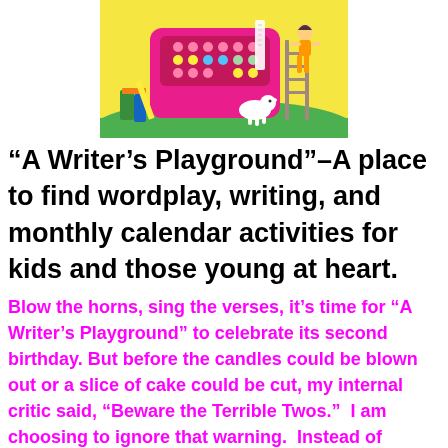[Figure (illustration): Colorful cartoon illustration of a large pink cash register / typewriter with colorful buttons, books, pencils, a white dog, a child on a ladder, and a receipt tape, set on green grass with a yellow background.]
“A Writer’s Playground”–A place to find wordplay, writing, and monthly calendar activities for kids and those young at heart.
Blow the horns, sing the verses, it’s time for “A Writer’s Playground” to celebrate its second birthday. But before the candles could be blown out or a slice of cake could be cut, my internal critic said, “Beware the Terrible Twos.”  I am choosing to ignore that warning.  Instead of fearing growing pains, I’ve